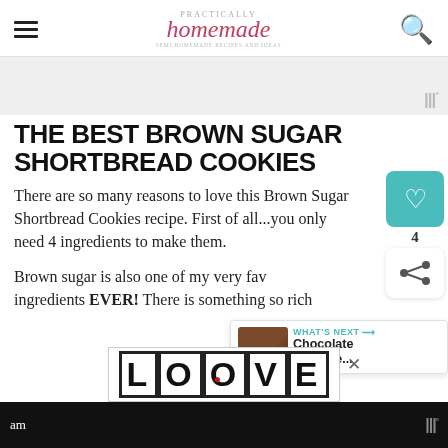Practically Homemade
[Figure (other): Advertisement banner placeholder with watermark logo]
THE BEST BROWN SUGAR SHORTBREAD COOKIES
There are so many reasons to love this Brown Sugar Shortbread Cookies recipe. First of all...you only need 4 ingredients to make them.
Brown sugar is also one of my very favorite ingredients EVER! There is something so rich and...
[Figure (other): WHAT'S NEXT popup with chocolate brownie image]
[Figure (other): LOOVE advertisement overlay at bottom]